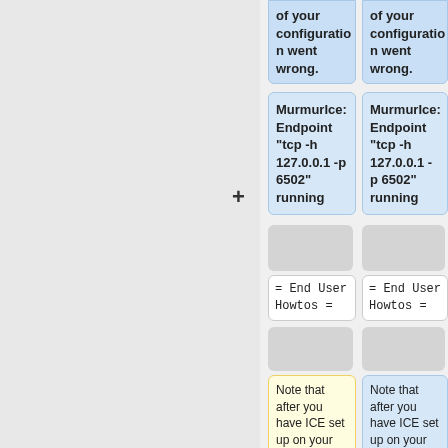of your configuration went wrong.
MurmurIce: Endpoint "tcp -h 127.0.0.1 -p 6502" running
[Figure (other): Grey placeholder box left]
[Figure (other): Grey placeholder box right]
= End User Howtos =
= End User Howtos =
[Figure (other): Grey placeholder box left second row]
[Figure (other): Grey placeholder box right second row]
Note that after you have ICE set up on your machine,
Note that after you have ICE set up on your machine,